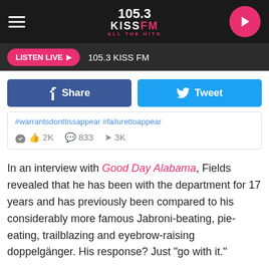105.3 KISS FM — ALL THE HITS
LISTEN LIVE ▶  105.3 KISS FM
Share   Tweet
#warrantsdonttissappear #failurettoappear   👍 2K   💬 833   ➤ 3K
In an interview with Good Day Alabama, Fields revealed that he has been with the department for 17 years and has previously been compared to his considerably more famous Jabroni-beating, pie-eating, trailblazing and eyebrow-raising doppelgänger. His response? Just "go with it."
Aside from Fields' growing cyber-fanbase, locals in the Morgan County area have also taken to their very own